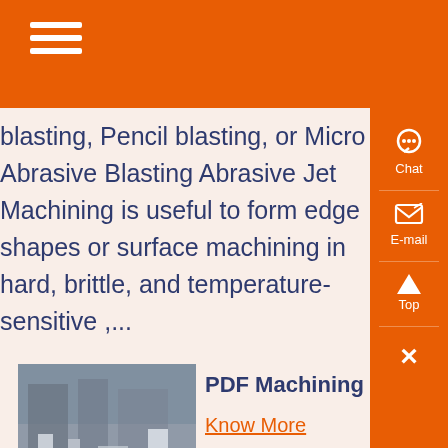blasting, Pencil blasting, or Micro Abrasive Blasting Abrasive Jet Machining is useful to form edge shapes or surface machining in hard, brittle, and temperature-sensitive ,...
[Figure (photo): Photo of an industrial machining or blasting facility interior showing large equipment and floor space]
PDF Machining of Mic
Know More
Micro abrasive jet machining is a non-conventional machining proc used to produce micro features